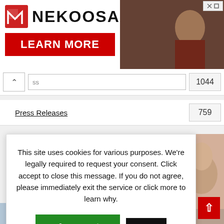[Figure (screenshot): Nekoosa advertisement banner with logo and LEARN MORE button, with photo of person in background]
ss
1044
Press Releases
759
This site uses cookies for various purposes. We're legally required to request your consent. Click accept to close this message. If you do not agree, please immediately exit the service or click more to learn why.
Accept
More
[Figure (photo): Close-up photo of a person's face/forehead]
[Figure (photo): Bottom photo strip, partial person]